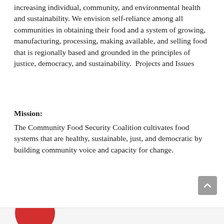increasing individual, community, and environmental health and sustainability. We envision self-reliance among all communities in obtaining their food and a system of growing, manufacturing, processing, making available, and selling food that is regionally based and grounded in the principles of justice, democracy, and sustainability.  Projects and Issues
Mission:
The Community Food Security Coalition cultivates food systems that are healthy, sustainable, just, and democratic by building community voice and capacity for change.